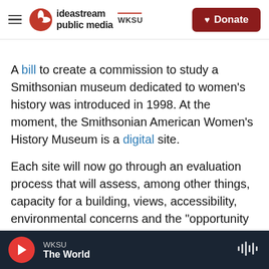ideastream public media WKSU | Donate
A bill to create a commission to study a Smithsonian museum dedicated to women's history was introduced in 1998. At the moment, the Smithsonian American Women's History Museum is a digital site.
Each site will now go through an evaluation process that will assess, among other things, capacity for a building, views, accessibility, environmental concerns and the "opportunity for architectural expression," according to a Smithsonian press release.
WKSU | The World